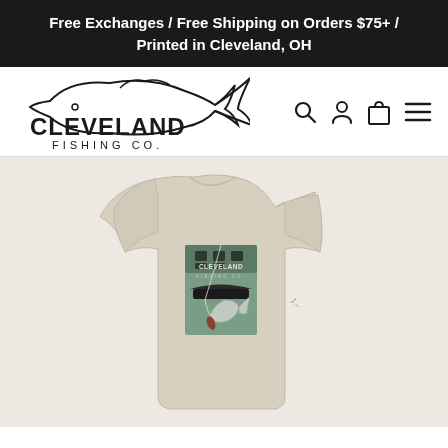Free Exchanges / Free Shipping on Orders $75+ / Printed in Cleveland, OH
[Figure (logo): Cleveland Fishing Co. logo with fish outline above the text, and navigation icons (search, account, cart, menu) to the right]
[Figure (photo): Back view of a beige/sand colored t-shirt with Cleveland Fishing Co. printed on the back, featuring a graphic of a fishing scene with a fish jumping near a boat on a green background, with a signature on the sleeve]